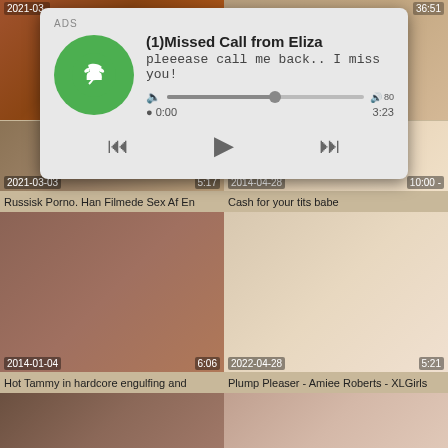[Figure (screenshot): Video thumbnail grid with ad overlay. Top row: two video thumbnails with dates 2021-03- and 36:51 duration. Middle row: thumbnails dated 2021-03-03 (5:17) titled 'Russisk Porno. Han Filmede Sex Af En' and 2014-04-28 (10:00) titled 'Cash for your tits babe'. Bottom row: 2014-01-04 (6:06) titled 'Hot Tammy in hardcore engulfing and' and 2022-04-28 (5:21) titled 'Plump Pleaser - Amiee Roberts - XLGirls'. Last row: two more partial thumbnails. An ad overlay shows '(1)Missed Call from Eliza' with audio player.]